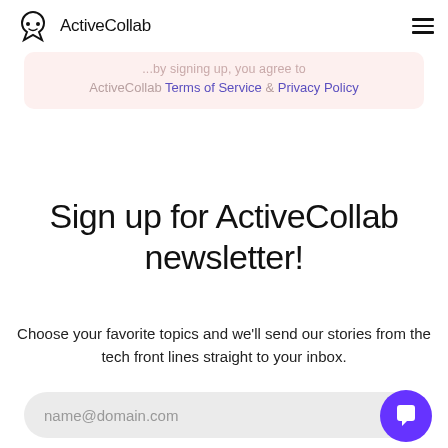ActiveCollab
ActiveCollab Terms of Service & Privacy Policy
Sign up for ActiveCollab newsletter!
Choose your favorite topics and we'll send our stories from the tech front lines straight to your inbox.
name@domain.com